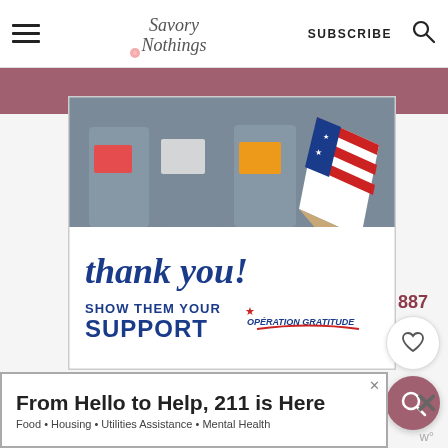Savory Nothings — SUBSCRIBE
[Figure (screenshot): Operation Gratitude promotional image showing healthcare workers holding thank you cards, with 'thank you! SHOW THEM YOUR SUPPORT OPERATION GRATITUDE' text overlay and patriotic pencil graphic]
887
[Figure (other): Heart/like button icon in circular white button]
[Figure (other): Search icon in circular mauve button]
[Figure (other): Advertisement banner: From Hello to Help, 211 is Here — Food • Housing • Utilities Assistance • Mental Health]